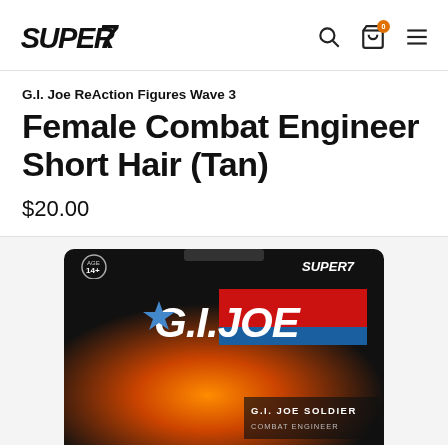Super7 — navigation bar with search, cart, menu icons
G.I. Joe ReAction Figures Wave 3
Female Combat Engineer Short Hair (Tan)
$20.00
[Figure (photo): G.I. Joe ReAction Figure packaging card showing the G.I. Joe logo with a blue star, red and blue stripes, a female combat engineer soldier figure in tan uniform, with fire/explosion background. Text reads 'G.I. JOE SOLDIER COMBAT ENGINEER'. Super7 logo in top right of card. Age 14+ label top left.]